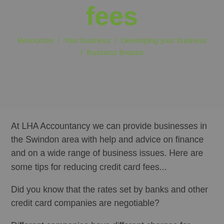fees
Resources / Your business / Developing your business / Business finance
At LHA Accountancy we can provide businesses in the Swindon area with help and advice on finance and on a wide range of business issues. Here are some tips for reducing credit card fees...
Did you know that the rates set by banks and other credit card companies are negotiable?
Different companies have different charges for processing credit card transactions, so it pays to shop